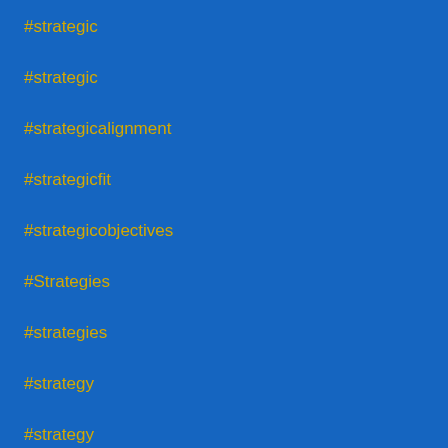#strategic
#strategic
#strategicalignment
#strategicfit
#strategicobjectives
#Strategies
#strategies
#strategy
#strategy